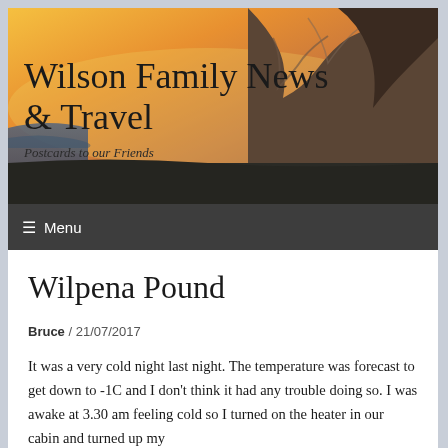[Figure (photo): Website header banner showing a coastal landscape at sunset/sunrise with rock formations silhouetted against an orange and yellow sky, with dark water visible on the left side.]
Wilson Family News & Travel
Postcards to our Friends
≡ Menu
Wilpena Pound
Bruce / 21/07/2017
It was a very cold night last night. The temperature was forecast to get down to -1C and I don't think it had any trouble doing so. I was awake at 3.30 am feeling cold so I turned on the heater in our cabin and turned up my